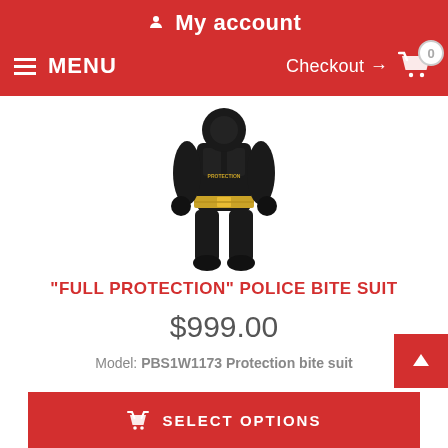My account
MENU  Checkout → 0
[Figure (photo): A black padded full-body police bite suit with gold/yellow belt and accents, standing upright on white background.]
"FULL PROTECTION" POLICE BITE SUIT
$999.00
Model: PBS1W1173 Protection bite suit
SELECT OPTIONS